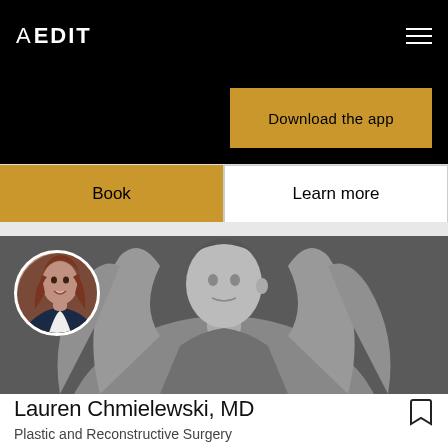AEDIT
Download the app
Book
Learn more
[Figure (photo): Hero banner with black and white photo of a woman with arms raised above head, with circular headshot of Dr. Lauren Chmielewski in the lower left]
Lauren Chmielewski, MD
Plastic and Reconstructive Surgery
Harmony Plastic Surgery
30 Central Park South, New York, NY 10019